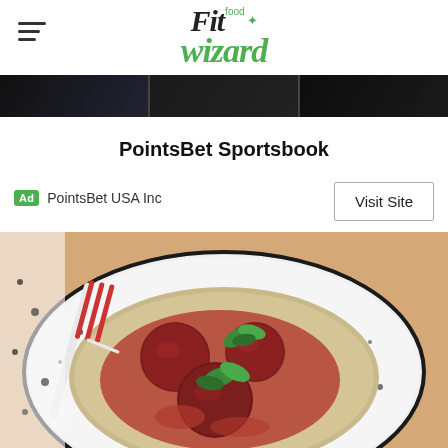Fit food wizard logo with hamburger menu
[Figure (photo): Dark banner strip with three image segments showing dark backgrounds]
PointsBet Sportsbook
Ad  PointsBet USA Inc
Visit Site
[Figure (photo): A white plate with meatballs in tomato sauce served over rice, garnished with fresh basil leaves, with a red and white striped fork on the left side]